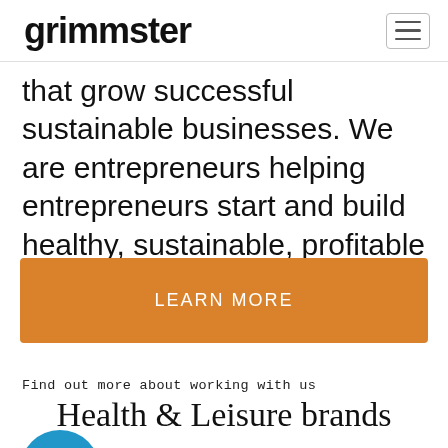grimmster
that grow successful sustainable businesses. We are entrepreneurs helping entrepreneurs start and build healthy, sustainable, profitable businesses.
LEARN MORE
Find out more about working with us
Health & Leisure brands
[Figure (logo): VisionCats Beverages logo — blue circular icon with crown/cat emblem and text VISIONCATS™ BEVERAGES]